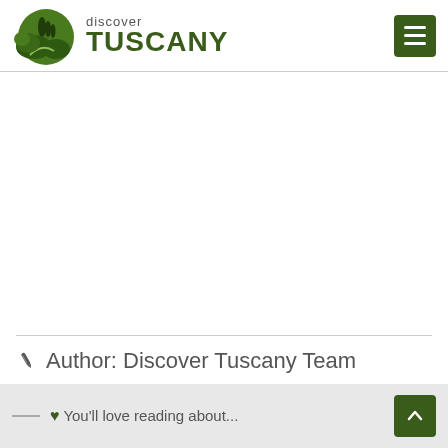discover TUSCANY
Author: Discover Tuscany Team
♥ You'll love reading about...